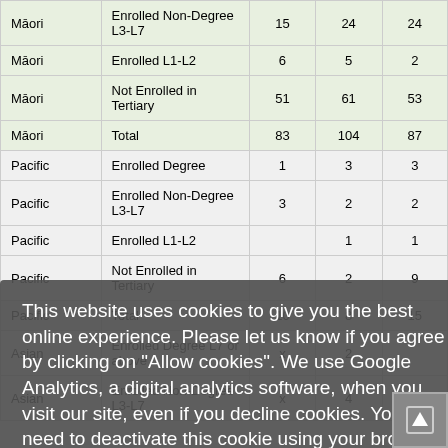| Group | Category | Col1 | Col2 | Col3 |
| --- | --- | --- | --- | --- |
| Māori | Enrolled Non-Degree L3-L7 | 15 | 24 | 24 |
| Māori | Enrolled L1-L2 | 6 | 5 | 2 |
| Māori | Not Enrolled in Tertiary | 51 | 61 | 53 |
| Māori | Total | 83 | 104 | 87 |
| Pacific | Enrolled Degree | 1 | 3 | 3 |
| Pacific | Enrolled Non-Degree L3-L7 | 3 | 2 | 2 |
| Pacific | Enrolled L1-L2 |  | 1 | 1 |
| Pacific | Not Enrolled in Tertiary | 6 | 2 | 9 |
| Pacific | Total | 10 | 8 | 15 |
| Asian | Enrolled Degree L7 or above | x | 2 |  |
| Asian | Enrolled Non-Degree L3-L7 | x | 4 | 1 |
This website uses cookies to give you the best online experience. Please let us know if you agree by clicking on "Allow cookies". We use Google Analytics, a digital analytics software, when you visit our site, even if you decline cookies. You will need to deactivate this cookie using your browser. About cookies